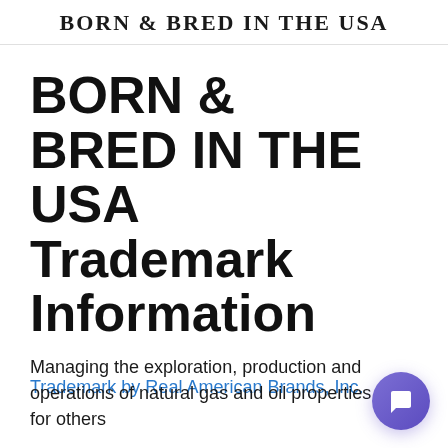BORN & BRED IN THE USA
BORN & BRED IN THE USA Trademark Information
Trademark by Real American Brands, Inc.
Managing the exploration, production and operations of natural gas and oil properties for others